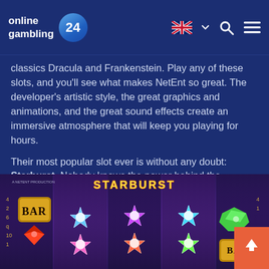online gambling 24
classics Dracula and Frankenstein. Play any of these slots, and you'll see what makes NetEnt so great. The developer's artistic style, the great graphics and animations, and the great sound effects create an immersive atmosphere that will keep you playing for hours.
Their most popular slot ever is without any doubt: Starburst. Nobody knows the power behind the popularity of this slot, but for many years it's been on the top of all the lists of popular slots worldwide. Read our review of Starburst to find out the reasons for its popularity.
[Figure (screenshot): Screenshot of the Starburst slot game by NetEnt, showing colorful star symbols, BAR symbols, and gem symbols on the reels with 'STARBURST' title text at top]